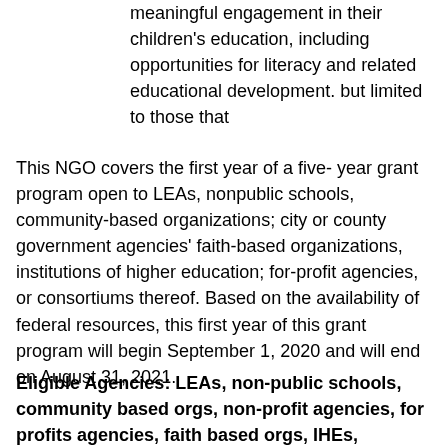meaningful engagement in their children's education, including opportunities for literacy and related educational development. but limited to those that
This NGO covers the first year of a five- year grant program open to LEAs, nonpublic schools, community-based organizations; city or county government agencies' faith-based organizations, institutions of higher education; for-profit agencies, or consortiums thereof. Based on the availability of federal resources, this first year of this grant program will begin September 1, 2020 and will end on August 31, 2021.
Eligible Agencies: LEAs, non-public schools, community based orgs, non-profit agencies, for profits agencies, faith based orgs, IHEs, city/county agencies